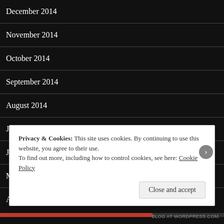December 2014
November 2014
October 2014
September 2014
August 2014
July 2014
June 2014
May 2014
April 2014
Privacy & Cookies: This site uses cookies. By continuing to use this website, you agree to their use.
To find out more, including how to control cookies, see here: Cookie Policy
Close and accept